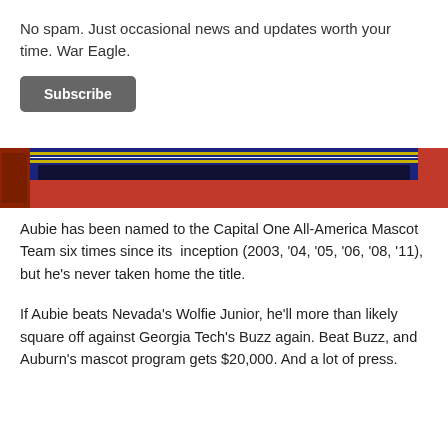No spam. Just occasional news and updates worth your time. War Eagle.
Subscribe
[Figure (photo): Partial image showing a framed item with orange and blue/dark borders, cropped at the bottom of visible area]
Aubie has been named to the Capital One All-America Mascot Team six times since its inception (2003, '04, '05, '06, '08, '11), but he's never taken home the title.
If Aubie beats Nevada's Wolfie Junior, he'll more than likely square off against Georgia Tech's Buzz again. Beat Buzz, and Auburn's mascot program gets $20,000. And a lot of press.